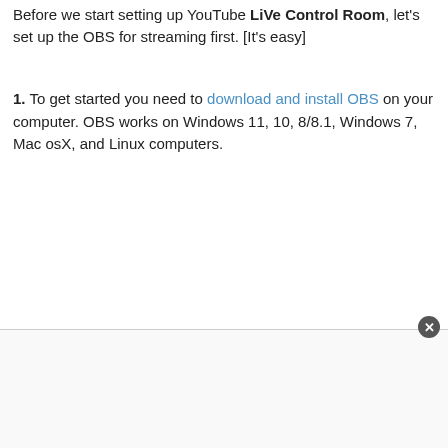Before we start setting up YouTube Live Control Room, let's set up the OBS for streaming first. [It's easy]
1. To get started you need to download and install OBS on your computer. OBS works on Windows 11, 10, 8/8.1, Windows 7, Mac osX, and Linux computers.
[Figure (other): Advertisement box with close button at bottom of page]